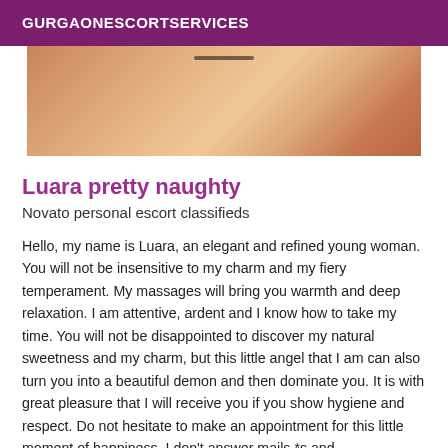GURGAONESCORTSERVICES
[Figure (photo): Partial photo showing a person's back/shoulder area against a light background]
Luara pretty naughty
Novato personal escort classifieds
Hello, my name is Luara, an elegant and refined young woman. You will not be insensitive to my charm and my fiery temperament. My massages will bring you warmth and deep relaxation. I am attentive, ardent and I know how to take my time. You will not be disappointed to discover my natural sweetness and my charm, but this little angel that I am can also turn you into a beautiful demon and then dominate you. It is with great pleasure that I will receive you if you show hygiene and respect. Do not hesitate to make an appointment for this little moment of happiness. I don't answer mails *s and